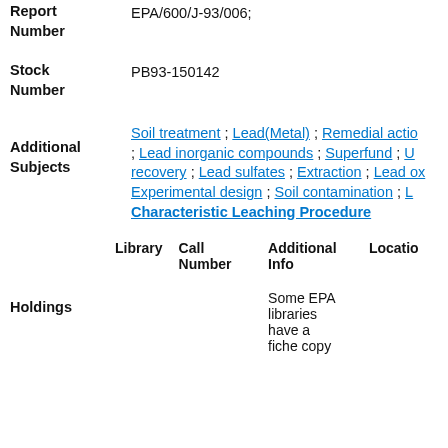Report Number: EPA/600/J-93/006;
Stock Number: PB93-150142
Additional Subjects: Soil treatment ; Lead(Metal) ; Remedial action ; Lead inorganic compounds ; Superfund ; U... recovery ; Lead sulfates ; Extraction ; Lead ox... Experimental design ; Soil contamination ; L... Characteristic Leaching Procedure
| Library | Call Number | Additional Info | Location |
| --- | --- | --- | --- |
|  |  | Some EPA libraries have a fiche copy |  |